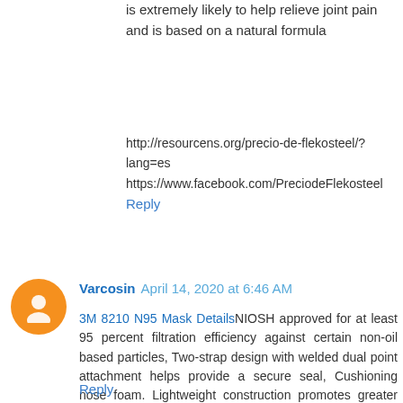is extremely likely to help relieve joint pain and is based on a natural formula
http://resourcens.org/precio-de-flekosteel/?lang=es
https://www.facebook.com/PreciodeFlekosteel
Reply
Varcosin  April 14, 2020 at 6:46 AM
3M 8210 N95 Mask DetailsNIOSH approved for at least 95 percent filtration efficiency against certain non-oil based particles, Two-strap design with welded dual point attachment helps provide a secure seal, Cushioning nose foam. Lightweight construction promotes greater worker acceptance and may help increase wear time. Advanced electrostatic media is designed for ease of breathing.
https://anticoronamask.in/collections/frontpage/products/3m-8210-n95-mask-and-respirator
https://www.facebook.com/n95coronamask/
Reply